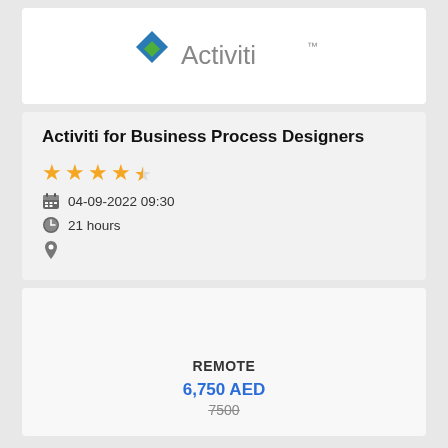[Figure (logo): Activiti logo — blue diamond with green inner diamond and grey 'Activiti' wordmark with trademark symbol]
Activiti for Business Process Designers
★★★★½ rating
04-09-2022 09:30
21 hours
REMOTE
6,750 AED
7500 (strikethrough original price)